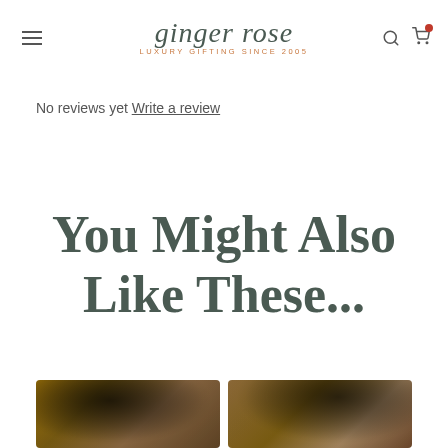ginger rose LUXURY GIFTING SINCE 2005
No reviews yet Write a review
You Might Also Like These...
[Figure (photo): Two product photos of leather goods at the bottom of the page]